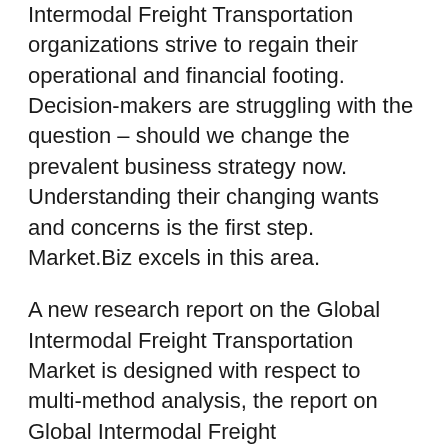Intermodal Freight Transportation organizations strive to regain their operational and financial footing. Decision-makers are struggling with the question – should we change the prevalent business strategy now. Understanding their changing wants and concerns is the first step. Market.Biz excels in this area.
A new research report on the Global Intermodal Freight Transportation Market is designed with respect to multi-method analysis, the report on Global Intermodal Freight Transportation Market 2021-2030 is also a comprehensive and in-depth Intermodal Freight Transportation Statistics on market size. Market.biz is keeping a close eye on developments in the business as a result of the COVID-19 pandemic. Hence, We have updated Intermodal Freight Transportation Market Report comprises of a comprehensive investigation into the geographical landscape, industry size along with the revenue estimation of the business. It also highlights vital